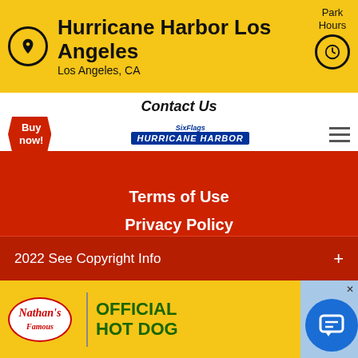Hurricane Harbor Los Angeles
Los Angeles, CA
Park Hours
Contact Us
[Figure (logo): Six Flags Hurricane Harbor logo with Buy now badge and hamburger menu]
Terms of Use
Privacy Policy
[Figure (illustration): Facebook and YouTube social media icons in white on red background]
#mysixflags
2022 See Copyright Info
[Figure (infographic): Nathan's Famous Official Hot Dog advertisement banner with Six Flags logo on right side]